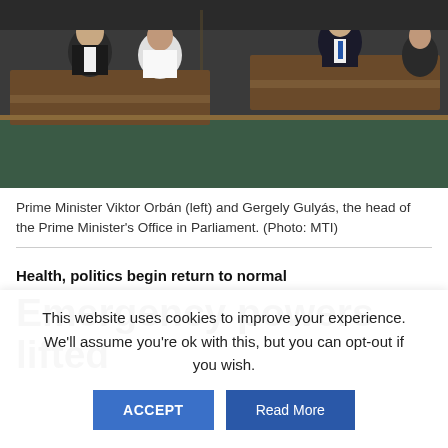[Figure (photo): Prime Minister Viktor Orbán and Gergely Gulyás seated in the Hungarian Parliament chamber, men in suits at wooden parliamentary desks.]
Prime Minister Viktor Orbán (left) and Gergely Gulyás, the head of the Prime Minister's Office in Parliament. (Photo: MTI)
Health, politics begin return to normal
Emergency powers lifted
This website uses cookies to improve your experience. We'll assume you're ok with this, but you can opt-out if you wish.